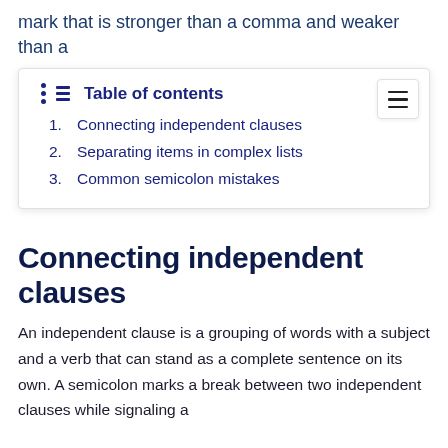mark that is stronger than a comma and weaker than a
Table of contents
1. Connecting independent clauses
2. Separating items in complex lists
3. Common semicolon mistakes
Connecting independent clauses
An independent clause is a grouping of words with a subject and a verb that can stand as a complete sentence on its own. A semicolon marks a break between two independent clauses while signaling a